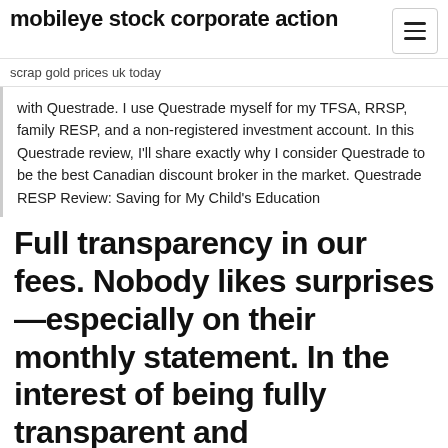mobileye stock corporate action
scrap gold prices uk today
with Questrade. I use Questrade myself for my TFSA, RRSP, family RESP, and a non-registered investment account. In this Questrade review, I'll share exactly why I consider Questrade to be the best Canadian discount broker in the market. Questrade RESP Review: Saving for My Child's Education
Full transparency in our fees. Nobody likes surprises—especially on their monthly statement. In the interest of being fully transparent and forthcoming with our